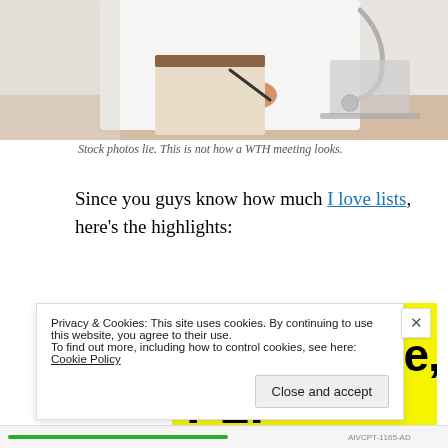[Figure (photo): Partial view of a doctor or medical professional in a white coat writing on a clipboard, with a stethoscope visible, at a desk. Stock photo cropped at top.]
Stock photos lie. This is not how a WTH meeting looks.
Since you guys know how much I love lists, here's the highlights:
[Figure (screenshot): Yellow background image with bold black text reading 'Collaborate, P2.' and 'Powered by' with a WordPress logo in the bottom right corner.]
Privacy & Cookies: This site uses cookies. By continuing to use this website, you agree to their use.
To find out more, including how to control cookies, see here: Cookie Policy